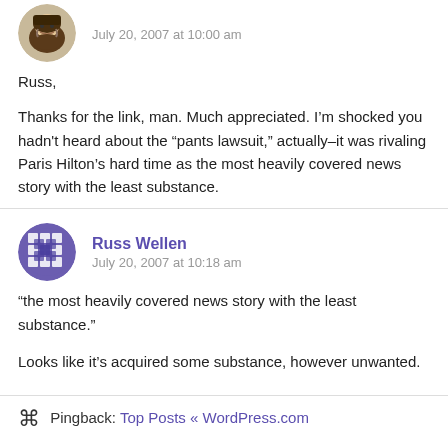[Figure (photo): Avatar image of a cartoon/illustrated character with a beard and hat, circular crop]
July 20, 2007 at 10:00 am
Russ,

Thanks for the link, man. Much appreciated. I'm shocked you hadn't heard about the “pants lawsuit,” actually–it was rivaling Paris Hilton’s hard time as the most heavily covered news story with the least substance.
[Figure (photo): Avatar image with a purple/blue circular grid/checkerboard pattern icon for Russ Wellen]
Russ Wellen
July 20, 2007 at 10:18 am
“the most heavily covered news story with the least substance.”

Looks like it’s acquired some substance, however unwanted.
Pingback: Top Posts « WordPress.com